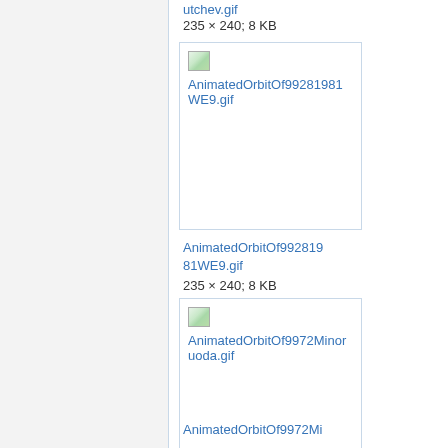utchev.gif
235 × 240; 8 KB
[Figure (screenshot): Thumbnail placeholder for AnimatedOrbitOf99281981WE9.gif with broken image icon]
AnimatedOrbitOf99281981WE9.gif
235 × 240; 8 KB
[Figure (screenshot): Thumbnail placeholder for AnimatedOrbitOf9972Minoruoda.gif with broken image icon]
AnimatedOrbitOf9972Mi